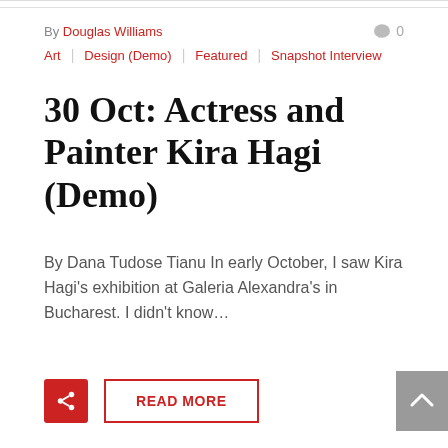By Douglas Williams
Art | Design (Demo) | Featured | Snapshot Interview
30 Oct: Actress and Painter Kira Hagi (Demo)
By Dana Tudose Tianu In early October, I saw Kira Hagi's exhibition at Galeria Alexandra's in Bucharest. I didn't know…
READ MORE